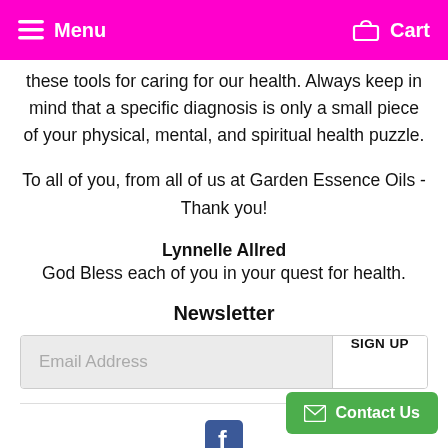Menu  Cart
these tools for caring for our health. Always keep in mind that a specific diagnosis is only a small piece of your physical, mental, and spiritual health puzzle.
To all of you, from all of us at Garden Essence Oils - Thank you!
Lynnelle Allred
God Bless each of you in your quest for health.
Newsletter
Email Address  SIGN UP
[Figure (logo): Facebook icon (square with f logo)]
Contact Us